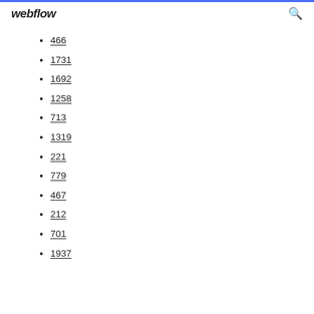webflow
466
1731
1692
1258
713
1319
221
779
467
212
701
1937